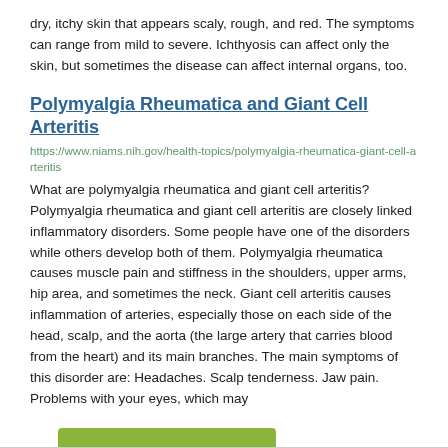dry, itchy skin that appears scaly, rough, and red. The symptoms can range from mild to severe. Ichthyosis can affect only the skin, but sometimes the disease can affect internal organs, too.
Polymyalgia Rheumatica and Giant Cell Arteritis
https://www.niams.nih.gov/health-topics/polymyalgia-rheumatica-giant-cell-arteritis
What are polymyalgia rheumatica and giant cell arteritis? Polymyalgia rheumatica and giant cell arteritis are closely linked inflammatory disorders. Some people have one of the disorders while others develop both of them. Polymyalgia rheumatica causes muscle pain and stiffness in the shoulders, upper arms, hip area, and sometimes the neck. Giant cell arteritis causes inflammation of arteries, especially those on each side of the head, scalp, and the aorta (the large artery that carries blood from the heart) and its main branches. The main symptoms of this disorder are: Headaches. Scalp tenderness. Jaw pain. Problems with your eyes, which may
Filter Results ▼